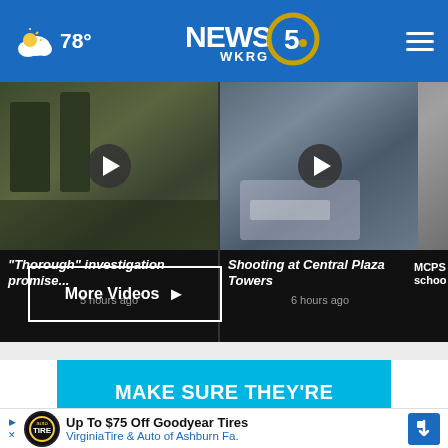78° NEWS 5 WKRG
[Figure (screenshot): Video thumbnail: outdoor scene with police tape and vehicles, play button overlay. Title: "Thorough" investigation promise... 5 hours ago]
[Figure (screenshot): Video thumbnail: police vehicle at scene, play button overlay. Title: Shooting at Central Plaza Towers, 6 hours ago]
[Figure (screenshot): Partial video thumbnail: MCPS school related story, partially visible]
More Videos ▶
[Figure (infographic): Car seat safety advertisement: MAKE SURE THEY'RE IN THE RIGHT CAR SEAT on cyan/blue background]
[Figure (infographic): Bottom advertisement: Up To $75 Off Goodyear Tires - VirginiaTire & Auto of Ashburn Fa.]